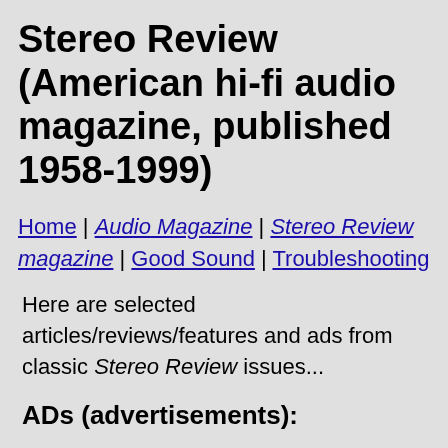Stereo Review (American hi-fi audio magazine, published 1958-1999)
Home | Audio Magazine | Stereo Review magazine | Good Sound | Troubleshooting
Here are selected articles/reviews/features and ads from classic Stereo Review issues...
ADs (advertisements):
Onkyo -- Artistry in Sound (ad, ca. late 1990)